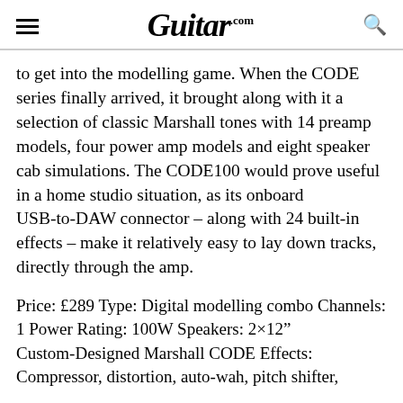Guitar.com
to get into the modelling game. When the CODE series finally arrived, it brought along with it a selection of classic Marshall tones with 14 preamp models, four power amp models and eight speaker cab simulations. The CODE100 would prove useful in a home studio situation, as its onboard USB-to-DAW connector – along with 24 built-in effects – make it relatively easy to lay down tracks, directly through the amp.
Price: £289 Type: Digital modelling combo Channels: 1 Power Rating: 100W Speakers: 2×12″ Custom-Designed Marshall CODE Effects: Compressor, distortion, auto-wah, pitch shifter,